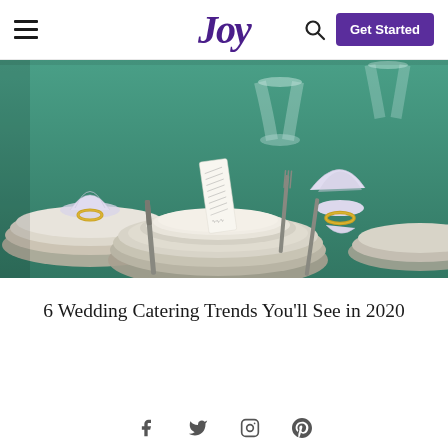Joy — Get Started
[Figure (photo): Wedding reception table setting with teal/green tablecloth, white plates stacked, white napkins with gold napkin rings, silverware, a folded menu card on the plate, and clear glassware in the background.]
6 Wedding Catering Trends You'll See in 2020